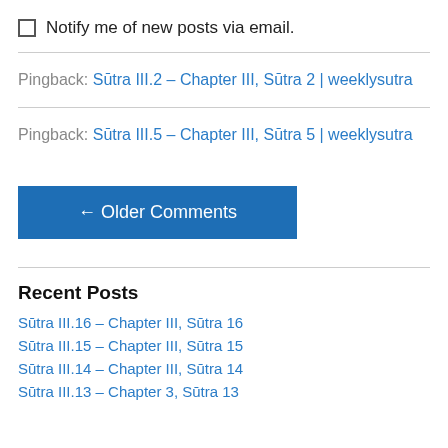Notify me of new posts via email.
Pingback: Sūtra III.2 – Chapter III, Sūtra 2 | weeklysutra
Pingback: Sūtra III.5 – Chapter III, Sūtra 5 | weeklysutra
← Older Comments
Recent Posts
Sūtra III.16 – Chapter III, Sūtra 16
Sūtra III.15 – Chapter III, Sūtra 15
Sūtra III.14 – Chapter III, Sūtra 14
Sūtra III.13 – Chapter 3, Sūtra 13